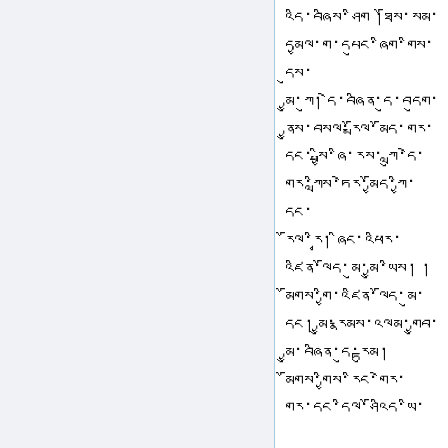Tibetan script text passage across multiple lines